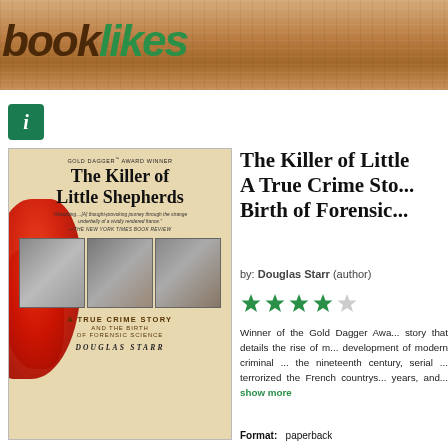booklikes
[Figure (illustration): BookLikes website screenshot showing book detail page for 'The Killer of Little Shepherds' by Douglas Starr, with book cover, star rating, and description text]
The Killer of Little Shepherds: A True Crime Story and the Birth of Forensic Science
by: Douglas Starr (author)
Winner of the Gold Dagger Award... story that details the rise of modern development of modern criminal science in the nineteenth century, serial ... terrorized the French countryside for years, and... show more
Format: paperback